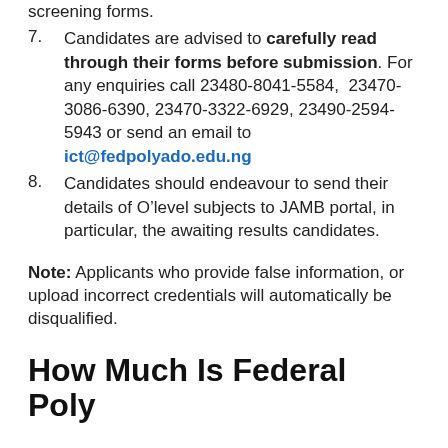(continuation) screening forms.
7. Candidates are advised to carefully read through their forms before submission. For any enquiries call 23480-8041-5584, 23470-3086-6390, 23470-3322-6929, 23490-2594-5943 or send an email to ict@fedpolyado.edu.ng
8. Candidates should endeavour to send their details of O’level subjects to JAMB portal, in particular, the awaiting results candidates.
Note: Applicants who provide false information, or upload incorrect credentials will automatically be disqualified.
How Much Is Federal Poly